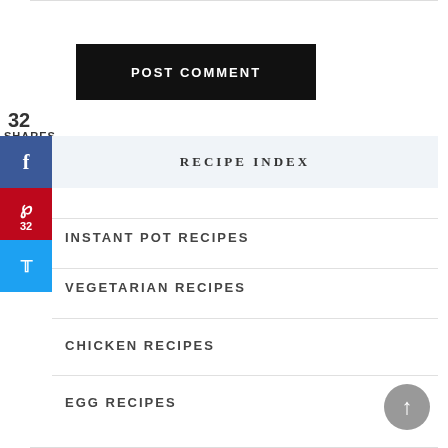[Figure (other): POST COMMENT button — black rectangle with white uppercase text]
32
SHARES
[Figure (infographic): Social sharing sidebar with Facebook (f icon), Pinterest (p icon, 32), and Twitter (bird icon) buttons in blue, red, and light-blue respectively]
RECIPE INDEX
INSTANT POT RECIPES
VEGETARIAN RECIPES
CHICKEN RECIPES
EGG RECIPES
[Figure (other): Back to top button — grey circle with upward arrow]